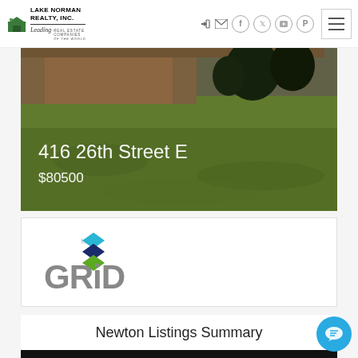[Figure (logo): Lake Norman Realty, Inc. logo with Leading Real Estate Companies of the World tagline]
[Figure (photo): Property photo showing a grassy yard with a house structure and trees in the background]
416 26th Street E
$80500
[Figure (logo): MLS GRID logo with stacked diamond/square icon in cyan, dark blue, and green colors]
Newton Listings Summary
[Figure (screenshot): Partial black bar at bottom of page]